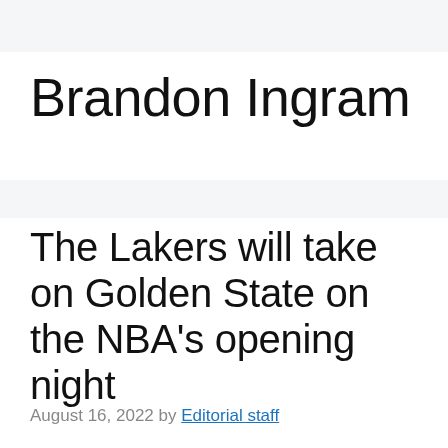Brandon Ingram
The Lakers will take on Golden State on the NBA's opening night
August 16, 2022 by Editorial staff